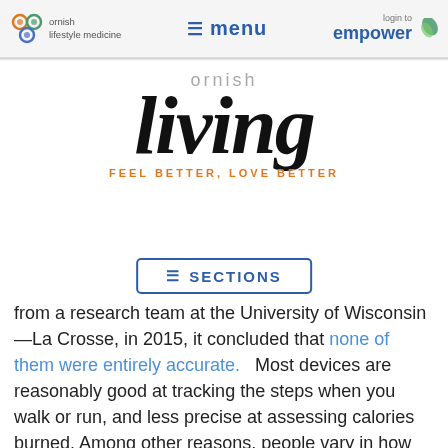ornish lifestyle medicine | menu | login to empower
[Figure (logo): Ornish Living logo — ornish in gray, 'living' in large serif italic black, tagline FEEL BETTER, LOVE BETTER in orange]
[Figure (other): SECTIONS navigation button with hamburger icon, blue border]
from a research team at the University of Wisconsin—La Crosse, in 2015, it concluded that none of them were entirely accurate.   Most devices are reasonably good at tracking the steps when you walk or run, and less precise at assessing calories burned. Among other reasons, people vary in how they use their arms. But absolute accuracy isn't essential—the main goal is to see trends over time, answering questions